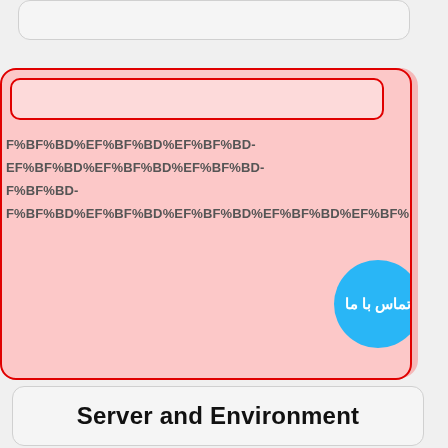[Figure (screenshot): Top rounded card/input element with light gray background and border]
[Figure (screenshot): Red-bordered pink card containing URL-encoded text lines and a cyan contact button with Persian text 'تماس با ما']
F%BF%BD%EF%BF%BD%EF%BF%BD-
EF%BF%BD%EF%BF%BD%EF%BF%BD-
F%BF%BD-
F%BF%BD%EF%BF%BD%EF%BF%BD%EF%BF%BD%EF%BF%BD%EF%BF%BD-
Server and Environment